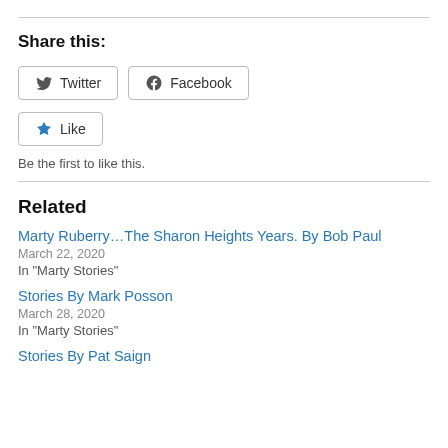Share this:
Twitter  Facebook
Like
Be the first to like this.
Related
Marty Ruberry…The Sharon Heights Years. By Bob Paul
March 22, 2020
In "Marty Stories"
Stories By Mark Posson
March 28, 2020
In "Marty Stories"
Stories By Pat Saign